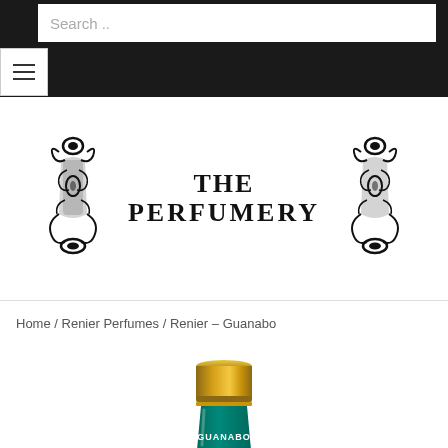Search ..
[Figure (logo): The Perfumery logo with two ornate decorative baroque motifs flanking the text THE PERFUMERY]
Home / Renier Perfumes / Renier – Guanabo
[Figure (photo): Renier Guanabo perfume bottle with gold cap and teal/green glass body with GUANABO text on bottle]